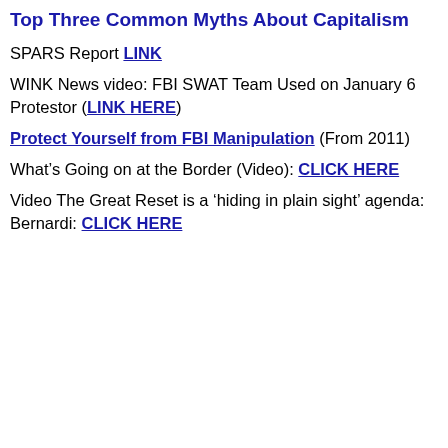Top Three Common Myths About Capitalism
SPARS Report LINK
WINK News video: FBI SWAT Team Used on January 6 Protestor (LINK HERE)
Protect Yourself from FBI Manipulation (From 2011)
What's Going on at the Border (Video): CLICK HERE
Video The Great Reset is a ‘hiding in plain sight’ agenda: Bernardi: CLICK HERE